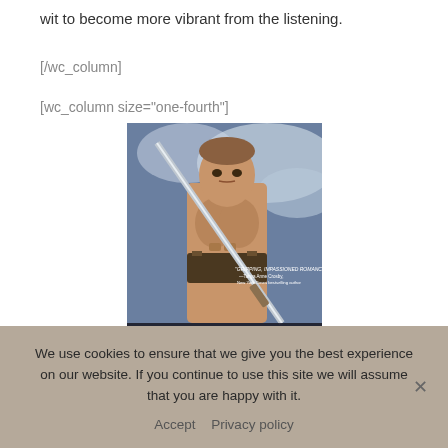wit to become more vibrant from the listening.
[/wc_column]
[wc_column size="one-fourth"]
[Figure (photo): Book cover of a Kathryn LeVeque novel featuring a muscular warrior holding a sword, with text 'USA Today Bestselling Author Kathryn LeVeque' and a quote 'Gripping, impassioned romance. —Tanya Anne Crosby, New York Times bestselling author']
We use cookies to ensure that we give you the best experience on our website. If you continue to use this site we will assume that you are happy with it.
Accept   Privacy policy